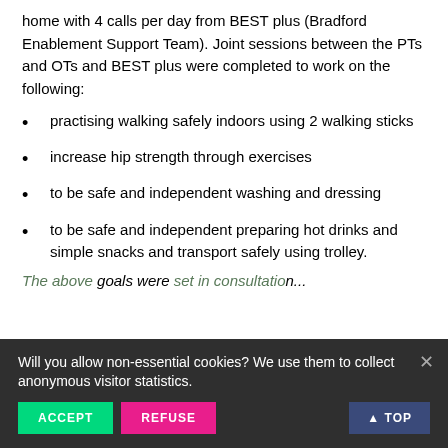home with 4 calls per day from BEST plus (Bradford Enablement Support Team). Joint sessions between the PTs and OTs and BEST plus were completed to work on the following:
practising walking safely indoors using 2 walking sticks
increase hip strength through exercises
to be safe and independent washing and dressing
to be safe and independent preparing hot drinks and simple snacks and transport safely using trolley.
The above goals were set in consultation...
Will you allow non-essential cookies? We use them to collect anonymous visitor statistics.